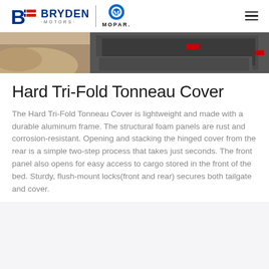Bryden Motors | Mopar
[Figure (photo): Rear view of a truck/Jeep vehicle on dirt terrain, showing the tailgate and rear tires]
Hard Tri-Fold Tonneau Cover
The Hard Tri-Fold Tonneau Cover is lightweight and made with a durable aluminum frame. The structural foam panels are rust and corrosion-resistant. Opening and stacking the hinged cover from the rear is a simple two-step process that takes just seconds. The front panel also opens for easy access to cargo stored in the front of the bed. Sturdy, flush-mount locks(front and rear) secures both tailgate and cover.